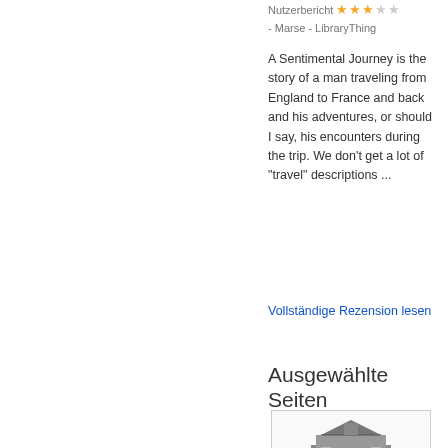Nutzerbericht ★★★☆☆
- Marse - LibraryThing
A Sentimental Journey is the story of a man traveling from England to France and back and his adventures, or should I say, his encounters during the trip. We don't get a lot of "travel" descriptions ...
Vollständige Rezension lesen
Ausgewählte Seiten
[Figure (illustration): A black and white illustration of a building or architectural scene, appearing to be an old European structure]